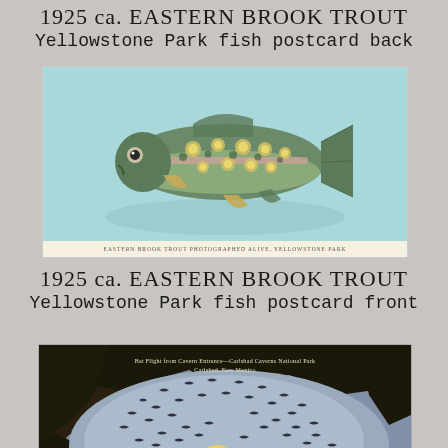1925 ca. EASTERN BROOK TROUT
Yellowstone Park fish postcard back
[Figure (illustration): Vintage postcard illustration of an Eastern Brook Trout fish on a light blue-green background, with small text caption at the bottom reading: EASTERN BROOK TROUT PHOTOGRAPHED ALIVE, YELLOWSTONE PARK]
1925 ca. EASTERN BROOK TROUT
Yellowstone Park fish postcard front
[Figure (photo): Vintage postcard photograph showing bat flight from Caverns, Carlsbad Caverns National Park, Carlsbad, New Mexico. Dark silhouetted bats swarm around a cave opening with a glowing yellow moon visible against a dusky sky.]